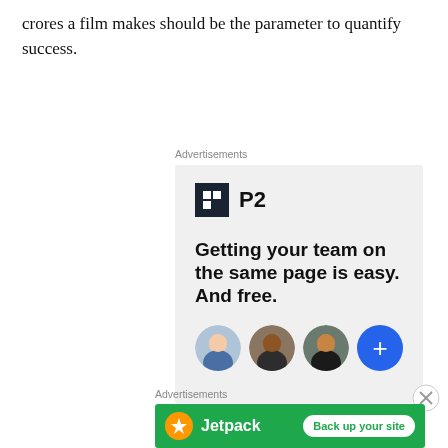crores a film makes should be the parameter to quantify success.
Advertisements
[Figure (other): P2 advertisement: logo with P2 text, tagline 'Getting your team on the same page is easy. And free.' with circular avatar photos and a blue plus button]
Advertisements
[Figure (other): Jetpack advertisement with green background, Jetpack logo, and 'Back up your site' button]